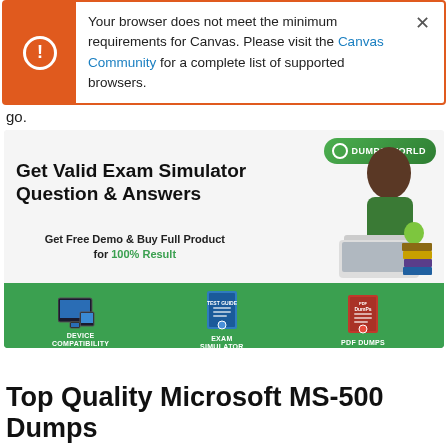Your browser does not meet the minimum requirements for Canvas. Please visit the Canvas Community for a complete list of supported browsers.
go.
[Figure (illustration): Advertisement banner for Dumps World exam simulator. Text reads: Get Valid Exam Simulator Question & Answers. Get Free Demo & Buy Full Product for 100% Result. Shows device compatibility, exam simulator, and PDF dumps products. A woman in a green shirt studies at a laptop.]
Top Quality Microsoft MS-500 Dumps